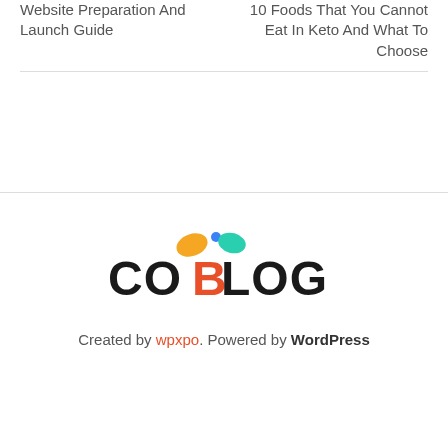Website Preparation And Launch Guide
10 Foods That You Cannot Eat In Keto And What To Choose
[Figure (logo): COBLOG logo with colorful splash marks above the text]
Created by wpxpo. Powered by WordPress